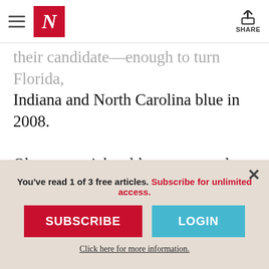The New Yorker — Navigation header with hamburger menu, N logo, and Share button
their candidate—enough to turn Florida, Indiana and North Carolina blue in 2008. Obama won't be able to outspend Romney and his allied Super PACs this time around, which makes the ground game that much more important. The Obama campaign has already been outspent two to one on the airwaves in North Carolina by Romney and
You've read 1 of 3 free articles. Subscribe for unlimited access.
SUBSCRIBE
LOGIN
Click here for more information.